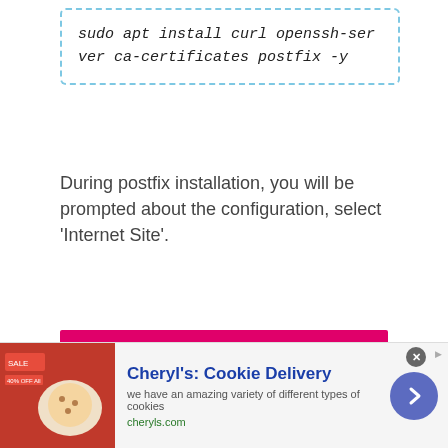During postfix installation, you will be prompted about the configuration, select 'Internet Site'.
[Figure (screenshot): Screenshot of Postfix Configuration dialog showing mail server configuration type options: No configuration, Internet site, Internet with smarthost, Satellite system, Local only.]
[Figure (other): Advertisement banner: Cheryl's Cookie Delivery - we have an amazing variety of different types of cookies. cheryls.com]